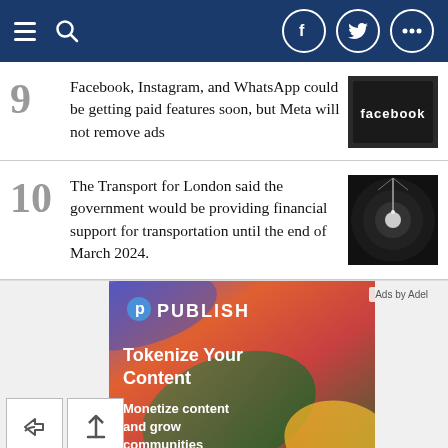Navigation header with hamburger menu, search icon, Facebook, Twitter, and more social icons
9 Facebook, Instagram, and WhatsApp could be getting paid features soon, but Meta will not remove ads
10 The Transport for London said the government would be providing financial support for transportation until the end of March 2024.
[Figure (infographic): Publish advertisement banner: colorful gradient background with Publish logo, text 'Tokenize Your Content', 'Monetize content and grow communities']